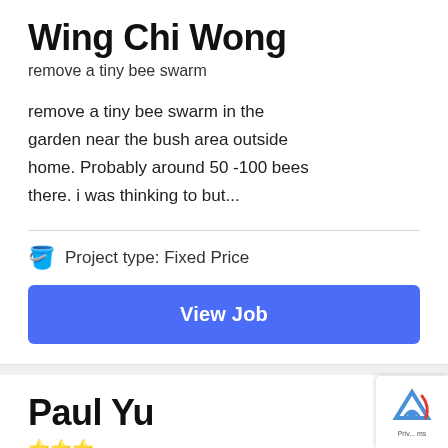Wing Chi Wong
remove a tiny bee swarm
remove a tiny bee swarm in the garden near the bush area outside home. Probably around 50 -100 bees there. i was thinking to but...
🪣 Project type: Fixed Price
View Job
Paul Yu
⭐⭐⭐